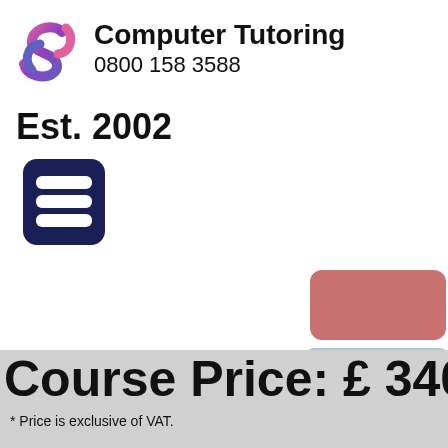[Figure (logo): Computer Tutoring logo with stylized S shape in pink and purple]
Computer Tutoring 0800 158 3588
Est. 2002
[Figure (other): Dark navy blue hamburger menu icon (three horizontal bars with rounded rectangle border)]
[Figure (other): Pink/rose colored button (partially visible, no label)]
Course Search
Course Price: £ 340.00*
* Price is exclusive of VAT.